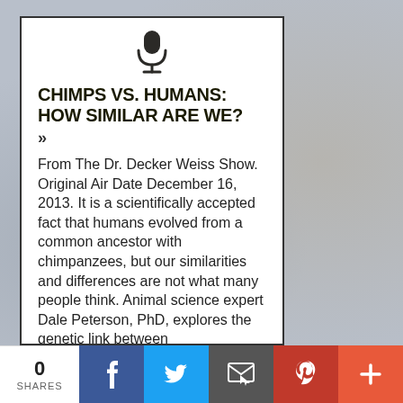[Figure (other): Microphone icon at top of card]
CHIMPS VS. HUMANS: HOW SIMILAR ARE WE?
»
From The Dr. Decker Weiss Show. Original Air Date December 16, 2013. It is a scientifically accepted fact that humans evolved from a common ancestor with chimpanzees, but our similarities and differences are not what many people think. Animal science expert Dale Peterson, PhD, explores the genetic link between
0 SHARES | Facebook | Twitter | Email | Pinterest | More